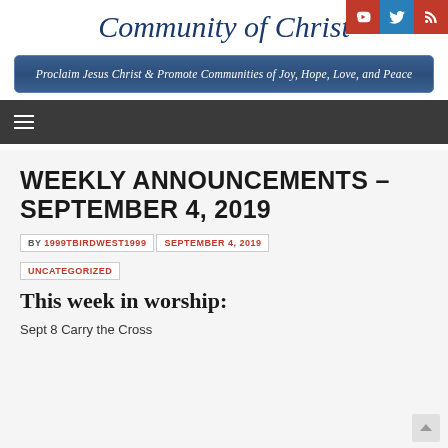Community of Christ
[Figure (screenshot): Social media icons: YouTube (red), Twitter (blue), RSS (red)]
Proclaim Jesus Christ & Promote Communities of Joy, Hope, Love, and Peace
[Figure (screenshot): Navigation bar with hamburger menu icon]
WEEKLY ANNOUNCEMENTS – SEPTEMBER 4, 2019
BY 1999TBIRDWEST1999   SEPTEMBER 4, 2019   UNCATEGORIZED
This week in worship:
Sept 8 Carry the Cross